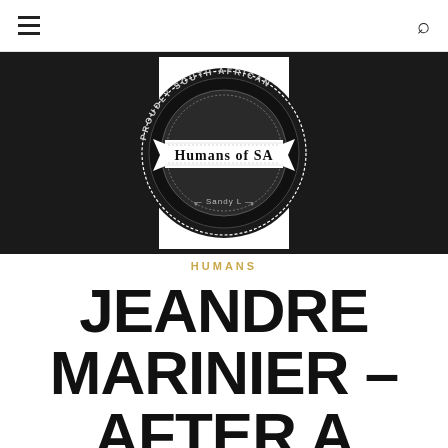≡  [search icon]
[Figure (logo): Humans of SA logo — circular dark badge with 'PROUDLY SOUTH AFRICAN' text around top arc, dashed inner circle, ribbon banner with 'Humans of SA' text in art-deco font, and 'Sandy L' text at the bottom. Set on white square against dark/black background.]
HUMANS
JEANDRE MARINIER – AFTER A BRAIN